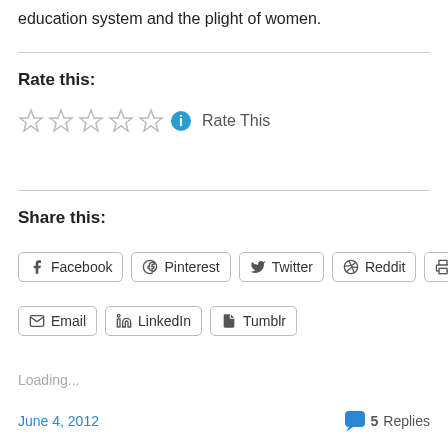education system and the plight of women.
Rate this:
[Figure (other): Five empty star rating icons followed by an info icon and 'Rate This' text]
Share this:
[Figure (other): Social share buttons: Facebook, Pinterest, Twitter, Reddit, Print, Email, LinkedIn, Tumblr]
Loading...
June 4, 2012   5 Replies